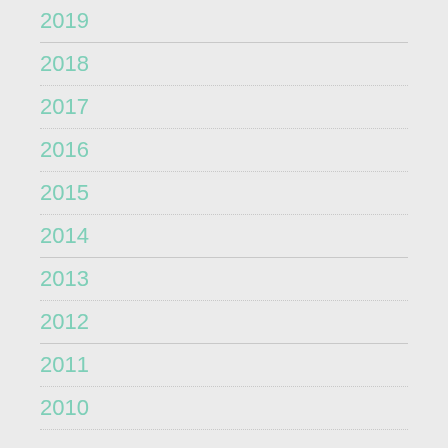2019
2018
2017
2016
2015
2014
2013
2012
2011
2010